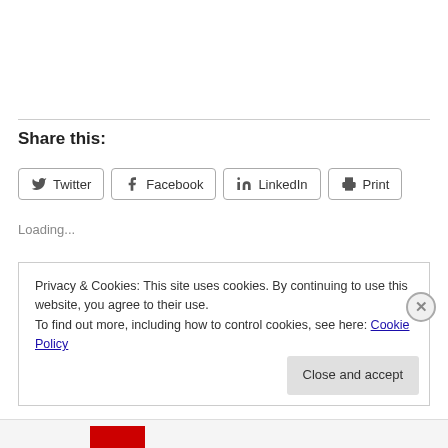Share this:
[Figure (other): Social share buttons row: Twitter, Facebook, LinkedIn, Print]
Loading...
Privacy & Cookies: This site uses cookies. By continuing to use this website, you agree to their use.
To find out more, including how to control cookies, see here: Cookie Policy
Close and accept